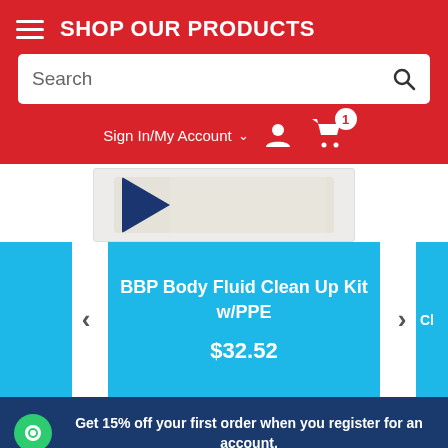SHOP OUR PRODUCTS
Search
Sign In/My Account
[Figure (screenshot): Product image area showing a white/beige box with a navy blue diagonal stripe/corner element, partially visible.]
BBP Body Fluid Clean Up Kit w/PPE
$32.52
Get 15% off your first order when you register for an account.